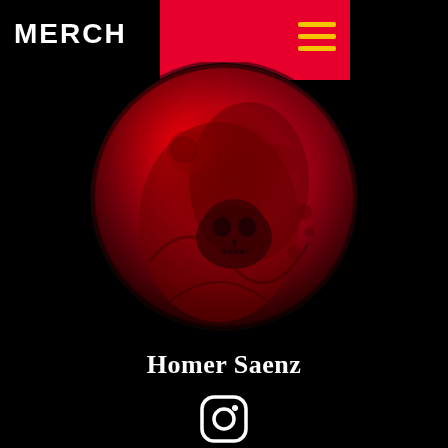MERCH
[Figure (logo): Hamburger menu icon (three horizontal yellow lines) on red background bar]
[Figure (photo): Circular profile image with red-tinted tattoo artwork showing skulls and roses on black background]
Homer Saenz
[Figure (logo): Instagram camera icon in white outline style]